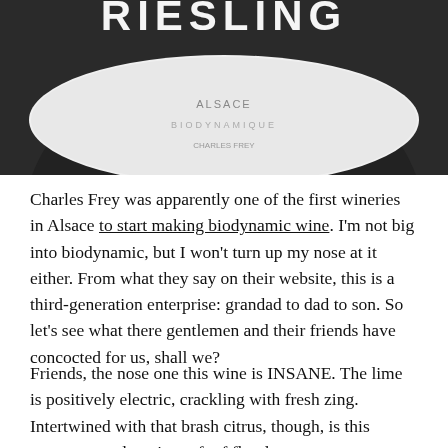[Figure (photo): Close-up photo of a wine bottle label showing partial text 'RIESLING' at the top, with a white oval label on a dark bottle.]
Charles Frey was apparently one of the first wineries in Alsace to start making biodynamic wine. I'm not big into biodynamic, but I won't turn up my nose at it either. From what they say on their website, this is a third-generation enterprise: grandad to dad to son. So let's see what there gentlemen and their friends have concocted for us, shall we?
Friends, the nose one this wine is INSANE. The lime is positively electric, crackling with fresh zing. Intertwined with that brash citrus, though, is this generous, welcoming raft of floral aromas. Elderflower, with a top-note of haunting, honey-dipped jasmine just envelops your whole FACE, y'all. And then there's a mineral undertone that puts